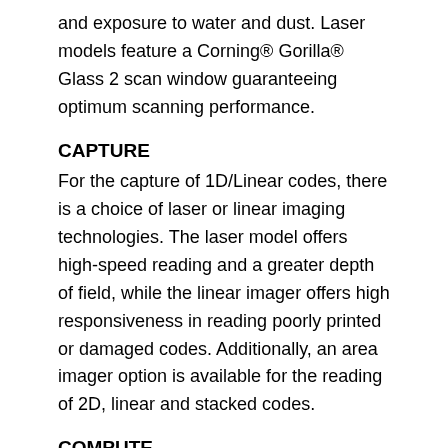and exposure to water and dust. Laser models feature a Corning® Gorilla® Glass 2 scan window guaranteeing optimum scanning performance.
CAPTURE
For the capture of 1D/Linear codes, there is a choice of laser or linear imaging technologies. The laser model offers high-speed reading and a greater depth of field, while the linear imager offers high responsiveness in reading poorly printed or damaged codes. Additionally, an area imager option is available for the reading of 2D, linear and stacked codes.
COMPUTE
The Memor X3 mobile computer offers industry-standard operating systems, a faster microprocessor, and more RAM memory for applications. A large amount of Flash memory enables the backup of data and the management of large databases, while a user-accessible SD card slot supports up